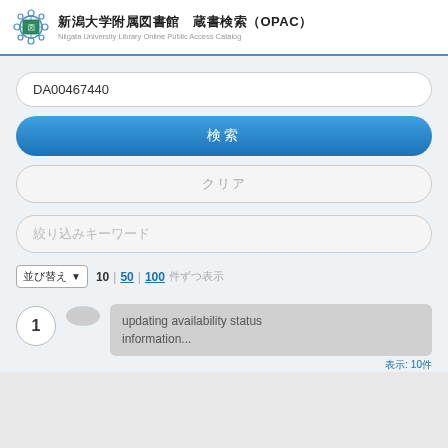新潟大学附属図書館　蔵書検索（OPAC） Niigata University Library Online Public Access Catalog
DA00467440
検索
クリア
絞り込みキーワード
並び替え ▼  10 | 50 | 100 件ずつ表示
1
updating availability status information...
表示: 10件